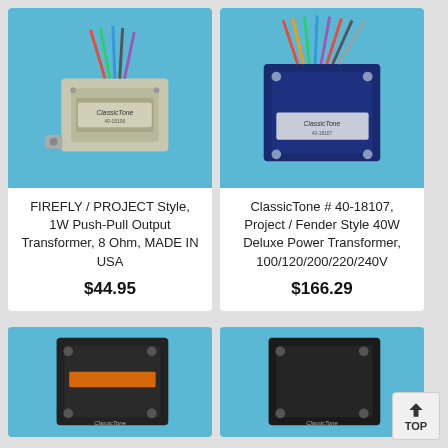[Figure (photo): ClassicTone silver/metallic output transformer with colorful wires on blue background]
FIREFLY / PROJECT Style, 1W Push-Pull Output Transformer, 8 Ohm, MADE IN USA
$44.95
[Figure (photo): ClassicTone dark blue power transformer with colorful wires on blue background]
ClassicTone # 40-18107, Project / Fender Style 40W Deluxe Power Transformer, 100/120/200/220/240V
$166.29
[Figure (photo): Black transformer on blue background, partially visible]
[Figure (photo): Black ClassicTone transformer on blue background, partially visible]